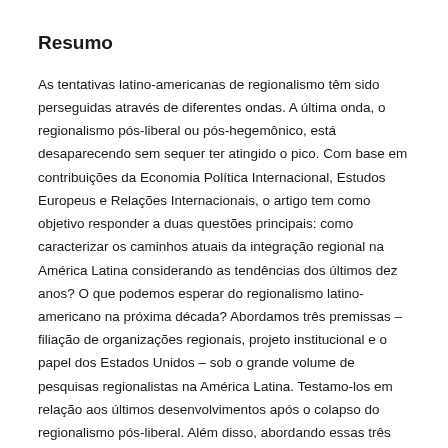Resumo
As tentativas latino-americanas de regionalismo têm sido perseguidas através de diferentes ondas. A última onda, o regionalismo pós-liberal ou pós-hegemônico, está desaparecendo sem sequer ter atingido o pico. Com base em contribuições da Economia Política Internacional, Estudos Europeus e Relações Internacionais, o artigo tem como objetivo responder a duas questões principais: como caracterizar os caminhos atuais da integração regional na América Latina considerando as tendências dos últimos dez anos? O que podemos esperar do regionalismo latino-americano na próxima década? Abordamos três premissas – filiação de organizações regionais, projeto institucional e o papel dos Estados Unidos – sob o grande volume de pesquisas regionalistas na América Latina. Testamo-los em relação aos últimos desenvolvimentos após o colapso do regionalismo pós-liberal. Além disso, abordando essas três premissas, tentamos fazer algumas